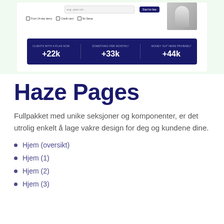[Figure (screenshot): Screenshot of a website UI on a light green background, showing an address bar, a dark navy button, a photo of a person, checkboxes, and a dark navy stats bar with +22k, +33k, +44k statistics]
Haze Pages
Fullpakket med unike seksjoner og komponenter, er det utrolig enkelt å lage vakre design for deg og kundene dine.
Hjem (oversikt)
Hjem (1)
Hjem (2)
Hjem (3)